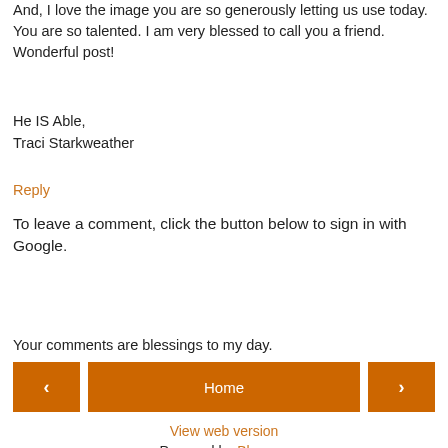And, I love the image you are so generously letting us use today. You are so talented. I am very blessed to call you a friend. Wonderful post!
He IS Able,
Traci Starkweather
Reply
To leave a comment, click the button below to sign in with Google.
SIGN IN WITH GOOGLE
Your comments are blessings to my day.
< Home >
View web version
Powered by Blogger.